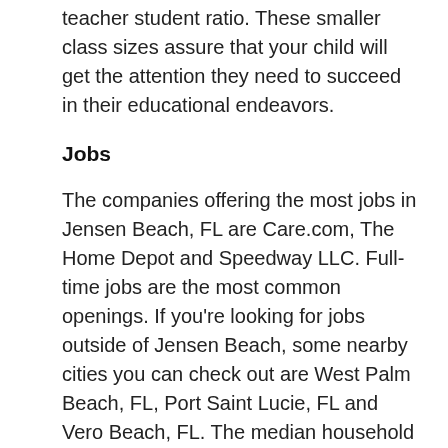teacher student ratio.  These smaller class sizes assure that your child will get the attention they need to succeed in their educational endeavors.
Jobs
The companies offering the most jobs in Jensen Beach, FL are Care.com, The Home Depot and Speedway LLC. Full-time jobs are the most common openings. If you're looking for jobs outside of Jensen Beach, some nearby cities you can check out are West Palm Beach, FL, Port Saint Lucie, FL and Vero Beach, FL.  The median household income in Jensen Beach was roughly $48,000 in 2016, according to the United States Census Bureau.
Convenience